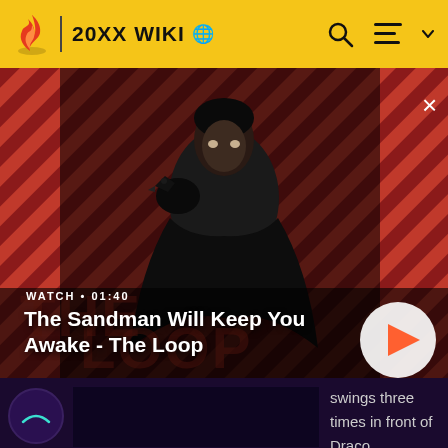20XX WIKI
[Figure (screenshot): Video banner showing The Sandman character in dark cape with a raven, against a red diagonal striped background. Text overlay shows WATCH • 01:40 and video title. Play button on right.]
The Sandman Will Keep You Awake - The Loop
swings three times in front of Draco. Somewhat low